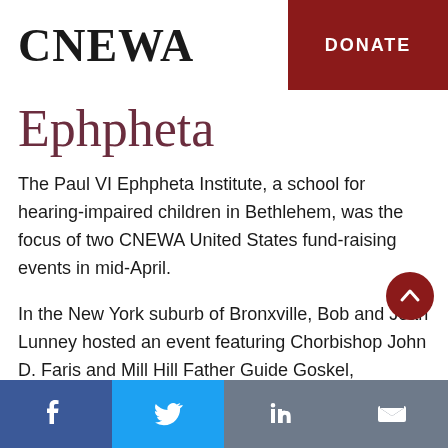CNEWA   DONATE
Ephpheta
The Paul VI Ephpheta Institute, a school for hearing-impaired children in Bethlehem, was the focus of two CNEWA United States fund-raising events in mid-April.
In the New York suburb of Bronxville, Bob and Joan Lunney hosted an event featuring Chorbishop John D. Faris and Mill Hill Father Guide Goskel, Associate National Secretary
Facebook  Twitter  LinkedIn  Email